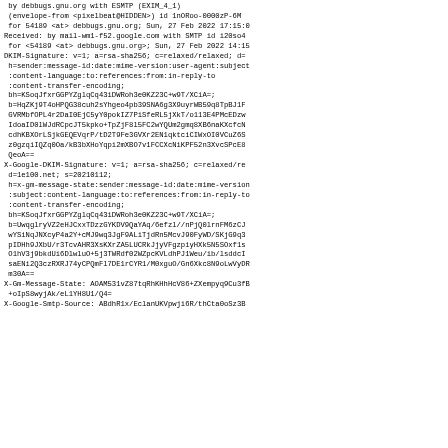by debbugs.gnu.org with ESMTP (EXIM_4_1)
 (envelope-from <pixelbeat@HIDDEN>) id 1nORoo-0000zP-6M
 for 54189 <at> debbugs.gnu.org; Sun, 27 Feb 2022 17:15:0
Received: by mail-wm1-f52.google.com with SMTP id i20so4
 for <54189 <at> debbugs.gnu.org>; Sun, 27 Feb 2022 14:15
DKIM-Signature: v=1; a=rsa-sha256; c=relaxed/relaxed; d=
 h=sender:message-id:date:mime-version:user-agent:subject
 :content-language:to:references:from:in-reply-to
 :content-transfer-encoding;
 bh=KSoqJfxrGGPYZglqCq43iDWRoh3e0KZ23C+w9T/XCiA=;
 b=HqZKj9T4oHPQG38cuh2sYhgeo4pb39SNA6g3X9uyrWB59q8TpBJ1F
 GVRMbfOPL4r2DaI0EjC5yY0pokIZ7PiSfeRL5jXkT/o113E4PMcEDzw
 IdoaID0lWJdRCpcJT5kpko+TpZjF8l5FC2wYQUm2gmq8XB6naKXcfcN
 cdhKBXOrLSjkGEQEVqrP/tD2T9Fe3GVXr2EN1qktciCIWxOI0VCuZ6S
 z0gzqiIQZq0Oa/kB3bXHoYqpi2mXBO7v1FCCXcNiKPF52n3XvcSPcE8
 QeoA==
X-Google-DKIM-Signature: v=1; a=rsa-sha256; c=relaxed/re
 d=1e100.net; s=20210112;
 h=x-gm-message-state:sender:message-id:date:mime-version
 :subject:content-language:to:references:from:in-reply-to
 :content-transfer-encoding;
 bh=KSoqJfxrGGPYZglqCq43iDWRoh3e0KZ23C+w9T/XCiA=;
 b=UwqglryVZ2eHJCxxTDzzGYKDV9QaYAq/6efzl//nPjQ0lrnFM6zCJ
 wYSiNqJNXcyP4a2Y+cMJ9wq3JgF9ALiTjdRn5McvJ90FyWD/SKjG9q3
 pIDHh9JXbU/r3TcvAHR3XsKXrZA5LUCRkJjyVFgzpiyHXk5N5SOxf1s
 O1hV3j9bkdUi6DlwluO+5j3TWRdf02WZpcKVLdhPJ1Weu/ib/lsddcI
 saENi2Q3czRXRJ74yCPQmFl7DE1rCYR1/M0xguO/Gn6Xkc8N9oLwVyDR
 m30A==
X-Gm-Message-State: AOAM531vZ87tqRhKHhHcV86+ZXempyq9Cu3fB
 +oIpS8wyjAk/eL1YH8U1/Q4=
X-Google-Smtp-Source: ABdhR1x/EclanUKVpwji6R/thCta0oSz3B